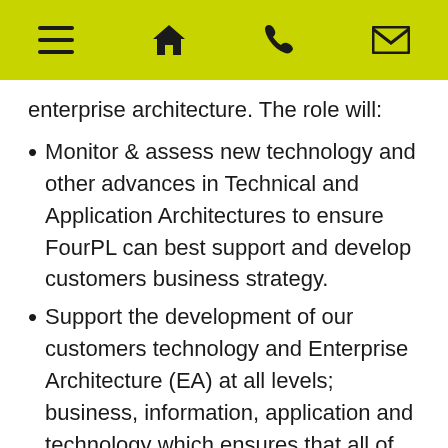[Figure (other): Navigation header bar with hamburger menu, home, phone, and email icons on lime green background]
enterprise architecture. The role will:
Monitor & assess new technology and other advances in Technical and Application Architectures to ensure FourPL can best support and develop customers business strategy.
Support the development of our customers technology and Enterprise Architecture (EA) at all levels; business, information, application and technology which ensures that all of the FourPL's advisory activities are aligned within the context of a customers strategic framework.
Role and Responsibilities